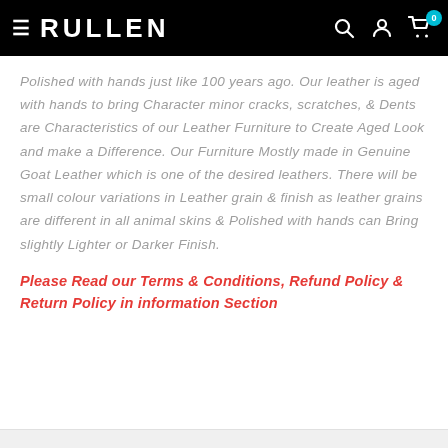RULLEN
Polished with hands just like 100 years ago. Our leather is aged with hands to bring Character minor cracks, scratches, & Dents are Characteristics of our Leather Furniture to Create Aged Look and make a Difference. Our Furniture Mostly made in Genuine Goat Leather which is one of the desired leathers. There will be small colour variations in Leather grain & finish as leather grains are different in all animal skins & Polished with hands can Bring slightly Lighter or Darker Finish.
Please Read our Terms & Conditions, Refund Policy & Return Policy in information Section